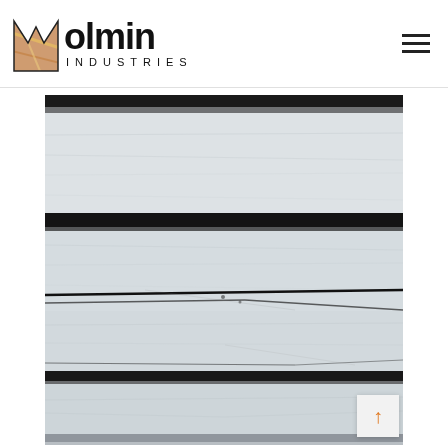Molmin Industries
[Figure (photo): Close-up photograph of white and black striped marble stone surface with horizontal dark veining patterns running across a light grey/white background.]